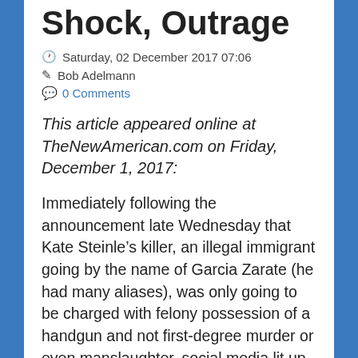Shock, Outrage
Saturday, 02 December 2017 07:06
Bob Adelmann
0 Comments
This article appeared online at TheNewAmerican.com on Friday, December 1, 2017:
Immediately following the announcement late Wednesday that Kate Steinle’s killer, an illegal immigrant going by the name of Garcia Zarate (he had many aliases), was only going to be charged with felony possession of a handgun and not first-degree murder or even manslaughter, social media lit up. Cyrus Firth twittered: “Let’s get this straight … in San Francisco, can you: – come here illegally? YES; – Unlawfully obtain a gun? YES; – Kill an innocent girl? YES; – be found “not guilty” for all? YES. THIS IS WHAT